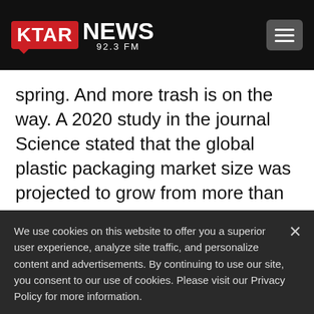KTAR NEWS 92.3 FM
spring. And more trash is on the way. A 2020 study in the journal Science stated that the global plastic packaging market size was projected to grow from more than $900 billion in 2019 to more than $1 trillion by
We use cookies on this website to offer you a superior user experience, analyze site traffic, and personalize content and advertisements. By continuing to use our site, you consent to our use of cookies. Please visit our Privacy Policy for more information.
Accept Cookies